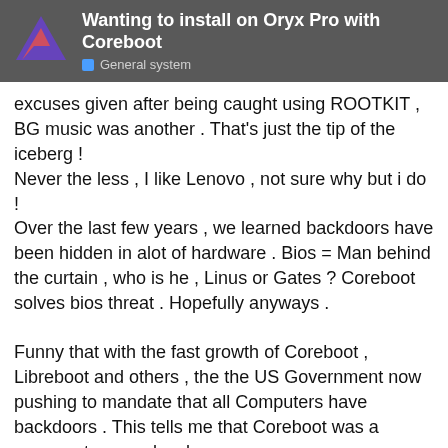Wanting to install on Oryx Pro with Coreboot | General system
excuses given after being caught using ROOTKIT , BG music was another . That's just the tip of the iceberg ! Never the less , I like Lenovo , not sure why but i do ! Over the last few years , we learned backdoors have been hidden in alot of hardware . Bios = Man behind the curtain , who is he , Linus or Gates ? Coreboot solves bios threat . Hopefully anyways .
Funny that with the fast growth of Coreboot , Libreboot and others , the the US Government now pushing to mandate that all Computers have backdoors . This tells me that Coreboot was a success to some level . We People are strange , we cry and wine how we need Computers built for Open/Source , Linux . Then we get a few People who step up to the plate to give us what we wanted . Yet we in return ignore these Companies , again supporting the same Companies that we were crying and wineing about . Simple , Start shopping for a new Computer now you's become a gambler . 10 years ag
38 / 38